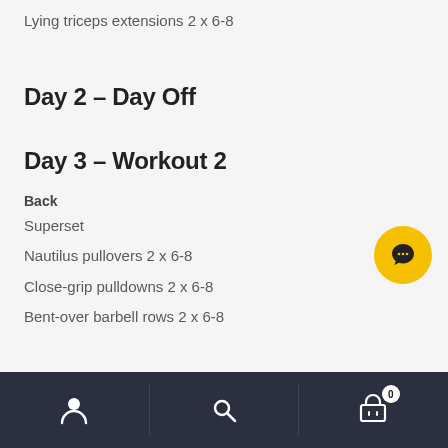Lying triceps extensions 2 x 6-8
Day 2 – Day Off
Day 3 – Workout 2
Back
Superset
Nautilus pullovers 2 x 6-8
Close-grip pulldowns 2 x 6-8
Bent-over barbell rows 2 x 6-8
Navigation bar with user, search, and cart icons